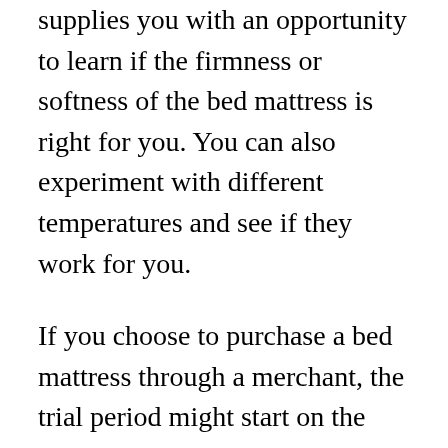supplies you with an opportunity to learn if the firmness or softness of the bed mattress is right for you. You can also experiment with different temperatures and see if they work for you.
If you choose to purchase a bed mattress through a merchant, the trial period might start on the day the bed mattress shows up or it may encompass 1 month. While some buyers will demand returning their brand-new bed mattress within a few days, lots of companies comprehend that you need time to check out a brand-new bed mattress. This